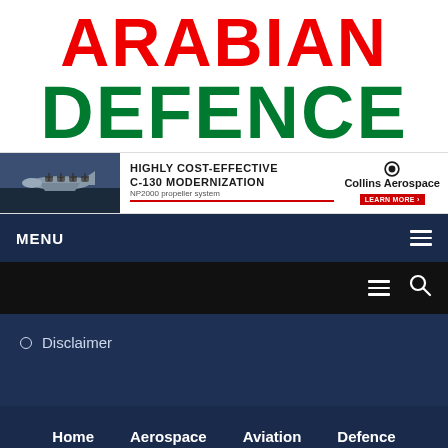ARABIAN DEFENCE
[Figure (infographic): Banner advertisement for Collins Aerospace C-130 Modernization with NP2000 propeller system. Shows military aircraft image on left, text 'HIGHLY COST-EFFECTIVE C-130 MODERNIZATION', Collins Aerospace logo and LEARN MORE button on right.]
MENU
Disclaimer
Home   Aerospace   Aviation   Defence   Events   Industry   People   Space
©2022 Arabian Defence - Defence, Aerospace, Homeland S News - All Rights Reserved.